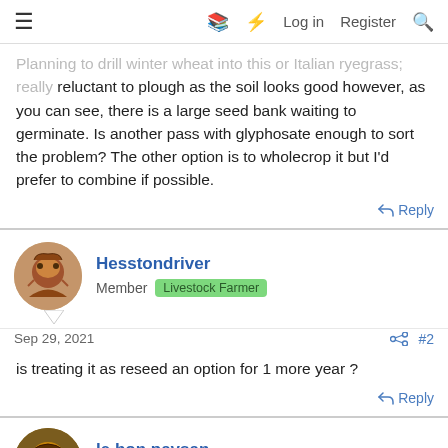≡  [book icon] [lightning icon]  Log in  Register  [search icon]
Planning to drill winter wheat into this or Italian ryegrass; really reluctant to plough as the soil looks good however, as you can see, there is a large seed bank waiting to germinate. Is another pass with glyphosate enough to sort the problem? The other option is to wholecrop it but I'd prefer to combine if possible.
Reply
Hesstondriver
Member  Livestock Farmer
Sep 29, 2021  #2
is treating it as reseed an option for 1 more year ?
Reply
le bon paysan
Member  Livestock Farmer